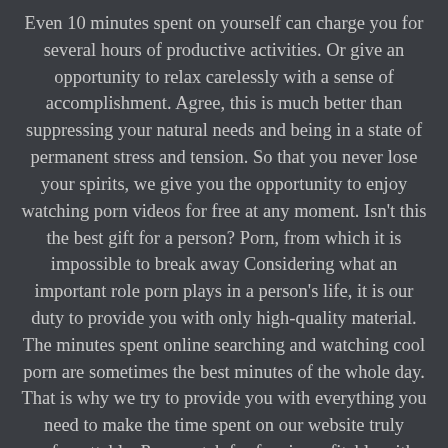Even 10 minutes spent on yourself can charge you for several hours of productive activities. Or give an opportunity to relax carelessly with a sense of accomplishment. Agree, this is much better than suppressing your natural needs and being in a state of permanent stress and tension. So that you never lose your spirits, we give you the opportunity to enjoy watching porn videos for free at any moment. Isn't this the best gift for a person? Porn, from which it is impossible to break away Considering what an important role porn plays in a person's life, it is our duty to provide you with only high-quality material. The minutes spent online searching and watching cool porn are sometimes the best minutes of the whole day. That is why we try to provide you with everything you need to make the time spent on our website truly unforgettable. Porn watch for free is profitable with